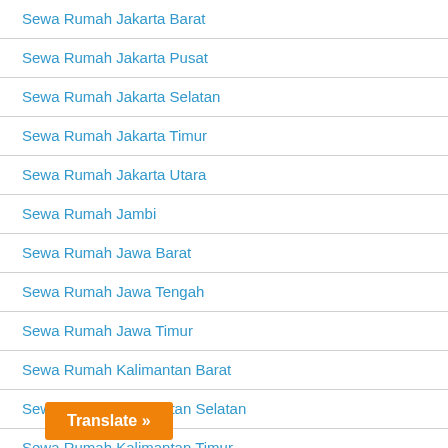Sewa Rumah Jakarta Barat
Sewa Rumah Jakarta Pusat
Sewa Rumah Jakarta Selatan
Sewa Rumah Jakarta Timur
Sewa Rumah Jakarta Utara
Sewa Rumah Jambi
Sewa Rumah Jawa Barat
Sewa Rumah Jawa Tengah
Sewa Rumah Jawa Timur
Sewa Rumah Kalimantan Barat
Sewa Rumah Kalimantan Selatan
Sewa Rumah Kalimantan Timur
Se...ng (partially visible)